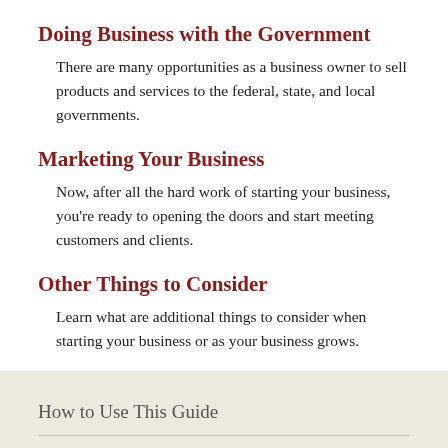Doing Business with the Government
There are many opportunities as a business owner to sell products and services to the federal, state, and local governments.
Marketing Your Business
Now, after all the hard work of starting your business, you're ready to opening the doors and start meeting customers and clients.
Other Things to Consider
Learn what are additional things to consider when starting your business or as your business grows.
How to Use This Guide
Writing a Business Plan